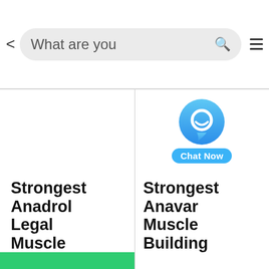[Figure (screenshot): Mobile app search bar with back arrow, search field showing 'What are you', magnifying glass icon in green, and hamburger menu icon]
[Figure (logo): Chat Now widget: blue circular chat bubble icon with smiley face, labeled 'Chat Now' in blue rounded rectangle]
Strongest Anadrol Legal Muscle Building Steroids .
Strongest Anavar Muscle Building Steroids Oxandrolol